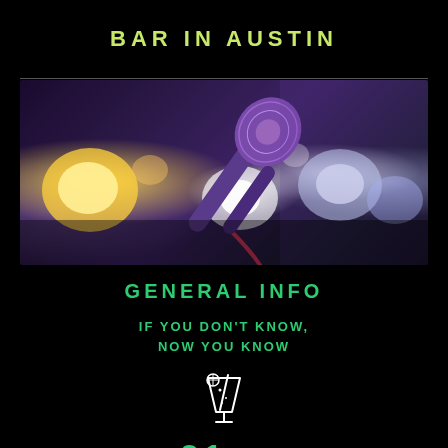BAR IN AUSTIN
[Figure (photo): Close-up photo of a microphone against a bokeh stage lights background with purple and yellow hues]
GENERAL INFO
IF YOU DON'T KNOW, NOW YOU KNOW
[Figure (illustration): White cocktail/tropical drink icon with straw and lemon slice]
21 +
You MUST be over 21 to party